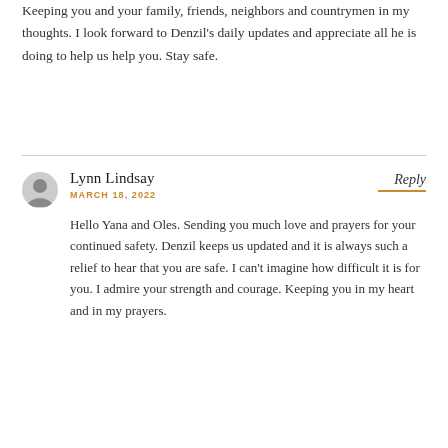Keeping you and your family, friends, neighbors and countrymen in my thoughts. I look forward to Denzil's daily updates and appreciate all he is doing to help us help you. Stay safe.
Lynn Lindsay
MARCH 18, 2022
Reply
Hello Yana and Oles. Sending you much love and prayers for your continued safety. Denzil keeps us updated and it is always such a relief to hear that you are safe. I can't imagine how difficult it is for you. I admire your strength and courage. Keeping you in my heart and in my prayers.